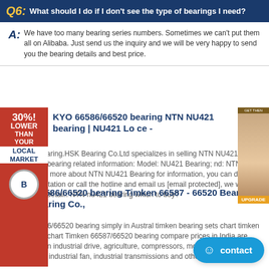Q6: What should I do if I don't see the type of bearings I need?
A: We have too many bearing series numbers. Sometimes we can't put them all on Alibaba. Just send us the inquiry and we will be very happy to send you the bearing details and best price.
[Figure (infographic): Red advertisement banner on left side with text '30% LOWER THAN YOUR LOCAL MARKET' and a circular badge with 'B' logo. Right side shows a partial photo of a woman with a small advertisement.]
KYO 66586/66520 bearing NTN NU421 bearing | NU421 Lo ce -
N NU421 Bearing.HSK Bearing Co.Ltd specializes in selling NTN NU421 rings, NTN NU421 bearing related information: Model: NU421 Bearing; nd: NTN, if you want to know more about NTN NU421 Bearing for information, you can do online consultation or call the hotline and email us [email protected], we will serve you in detail.. NTN nu421 bearing which to buy?
KOYO 66586/66520 bearing Timken 66587 - 66520 Bearings - FAB Bearing Co.,
Timken 66586/66520 bearing simply in Austral timken bearing sets chart timken bearing sets chart Timken 66587/66520 bearing compare prices in India are widely used in industrial drive, agriculture, compressors, motors and generators, construction, industrial fan, industrial transmissions and other fields.
contact